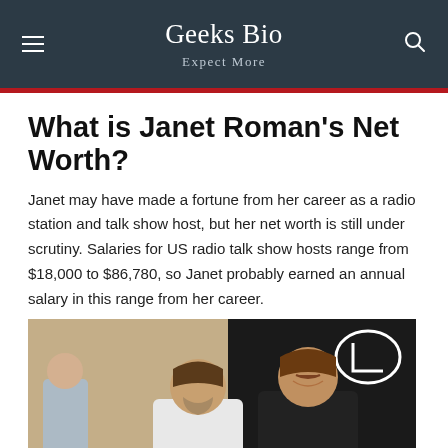Geeks Bio
Expect More
What is Janet Roman's Net Worth?
Janet may have made a fortune from her career as a radio station and talk show host, but her net worth is still under scrutiny. Salaries for US radio talk show hosts range from $18,000 to $86,780, so Janet probably earned an annual salary in this range from her career.
[Figure (photo): Two men posing together in front of a Lexus dealership backdrop; a third person partially visible in the background.]